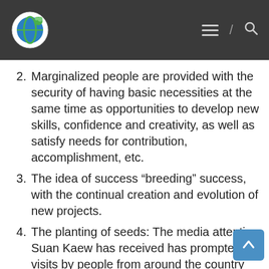[Logo] [Hamburger menu] / [Search icon]
2. Marginalized people are provided with the security of having basic necessities at the same time as opportunities to develop new skills, confidence and creativity, as well as satisfy needs for contribution, accomplishment, etc.
3. The idea of success “breeding” success, with the continual creation and evolution of new projects.
4. The planting of seeds: The media attention Suan Kaew has received has prompted visits by people from around the country who are in positions to do